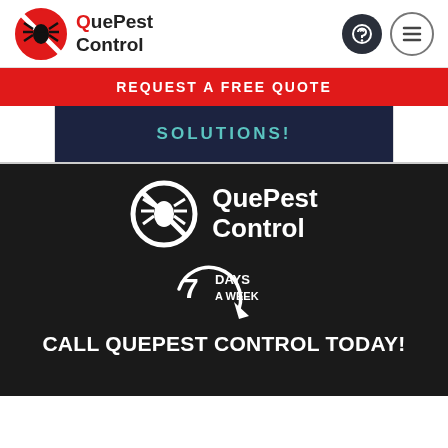[Figure (logo): QuePest Control logo with spider in red circle with red Q and black text 'QuePest Control']
[Figure (logo): Phone icon in dark circle and hamburger menu icon in outline circle]
REQUEST A FREE QUOTE
[Figure (screenshot): Dark navy banner with teal text 'SOLUTIONS!']
[Figure (logo): White QuePest Control logo with spider in white circle on dark background]
[Figure (infographic): 7 DAYS A WEEK circular arrow badge in white]
CALL QUEPEST CONTROL TODAY!